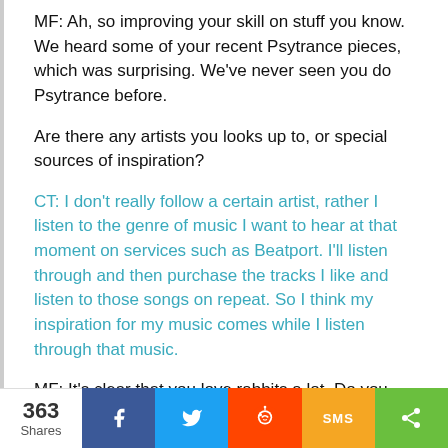MF: Ah, so improving your skill on stuff you know. We heard some of your recent Psytrance pieces, which was surprising. We've never seen you do Psytrance before.
Are there any artists you looks up to, or special sources of inspiration?
CT: I don't really follow a certain artist, rather I listen to the genre of music I want to hear at that moment on services such as Beatport. I'll listen through and then purchase the tracks I like and listen to those songs on repeat. So I think my inspiration for my music comes while I listen through that music.
MF: It's clear that you love rabbits a lot. Do you have any pet rabbits, and if so, what are their names?
CT: Yes I've have pet rabbit. No matter what pet you decide to have, you'll become attach to them, so I am that status. The
363 Shares | Facebook | Twitter | Reddit | SMS | Share